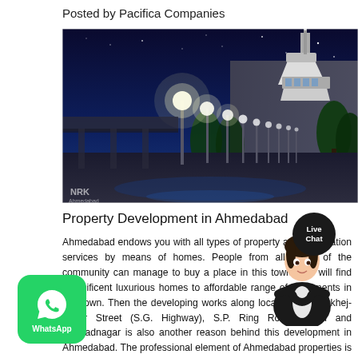Posted by Pacifica Companies
[Figure (photo): Night cityscape of Ahmedabad showing a wide road lined with street lights and trees, with a prominent water tower structure in the background against a deep blue night sky. Watermark 'NRK' visible in bottom left corner.]
Property Development in Ahmedabad
Ahmedabad endows you with all types of property accommodation services by means of homes. People from all areas of the community can manage to buy a place in this town. You will find magnificent luxurious homes to affordable range of apartments in this town. Then the developing works along locations like Bokhej-nagar Street (S.G. Highway), S.P. Ring Road, Bopal and Prahladnagar is also another reason behind this development in Ahmedabad. The professional element of Ahmedabad properties is on the move for years. This town had